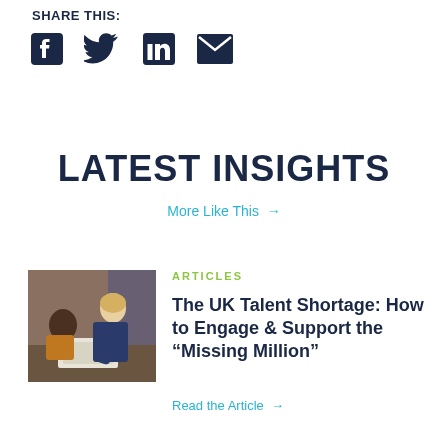SHARE THIS:
[Figure (other): Social share icons: Facebook, Twitter, LinkedIn, Email]
LATEST INSIGHTS
More Like This →
[Figure (photo): Two women collaborating at a table, one standing leaning over, one seated looking up]
ARTICLES
The UK Talent Shortage: How to Engage & Support the “Missing Million”
Read the Article →